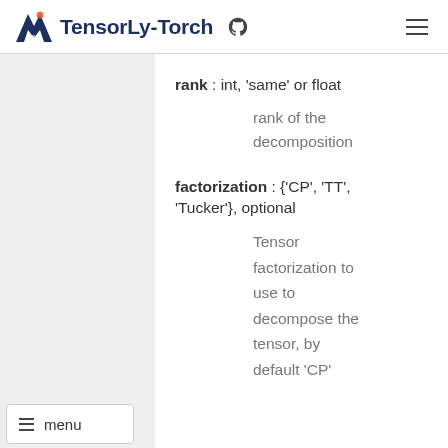TensorLy-Torch
rank : int, 'same' or float
rank of the decomposition
factorization : {'CP', 'TT', 'Tucker'}, optional
Tensor factorization to use to decompose the tensor, by default 'CP'